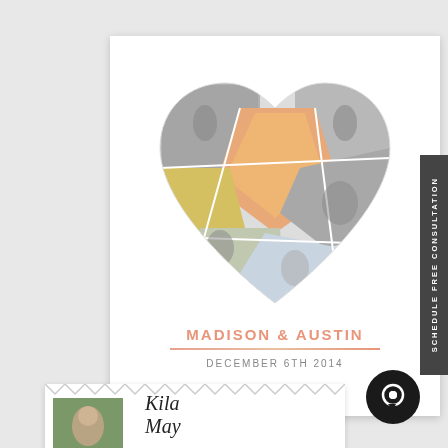[Figure (illustration): Wedding announcement card with heart-shaped photo collage of a couple. Multiple photos arranged in a heart shape, some in black and white, one showing hands with a ring. Below the heart: names MADISON & AUSTIN in salmon/coral uppercase letters, a decorative line, and date DECEMBER 6TH 2014.]
MADISON & AUSTIN
[Figure (illustration): Sidebar button with dark gray background and vertical text reading SCHEDULE FREE CONSULTATION in white uppercase letters.]
[Figure (illustration): Partially visible second card at the bottom with a small photo on the left and script text reading 'Kila May' on the right.]
[Figure (other): Dark circular chat bubble icon in the bottom right area.]